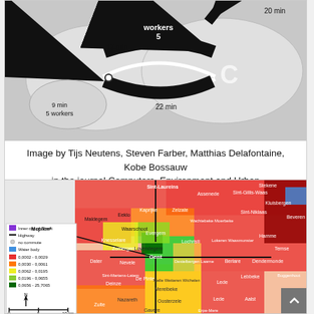[Figure (schematic): Commute flow diagram showing zones with arrows indicating worker flows and travel times (17 min, 22 min, 20 min, 9 min 5 workers, 5 workers label, zone C label)]
Image by Tijs Neutens, Steven Farber, Matthias Delafontaine, Kobe Bossauw in the journal Computers, Environment and Urban Systems 41 (2013) 318-331.
[Figure (map): Choropleth map of Ghent region in Belgium showing Mcp/km² values by municipality. Legend: Inner city of Ghent (purple), Highway (black line), no commute (grey dot), Water body (blue). Color scale: 0.0002-0.0029 (red), 0.0030-0.0061 (orange), 0.0062-0.0195 (yellow), 0.0196-0.0655 (light green), 0.0656-25.7065 (dark green). Scale bar: 0 5 10 km. North arrow shown. Municipalities labeled include Sint-Laureins, Assenede, Maldegem, Eeklo, Kaprijke, Zelzate, Wachtebeke, Moerbeke, Sint-Gillis-Waas, Stekene, Beveren, Sint-Niklaas, Hamme, Dendermonde, Buggenhout, Lokeren, Waasmunster, Temse, Kluisbergen, Zele, Laarne, Wetteren, Lede, Aalst, De Pinte, Merelbeke, Melle, Gavere, Oosterzele, Nazareth, Zulte, Kruishoutem, Erpe-Mere, Ninove, Sint-Martens-Latem, Deinze, Lovendegem, Nevele, Evergem, Waarschoot, Zomergem, Knesselare, Gent, Destelbergen]